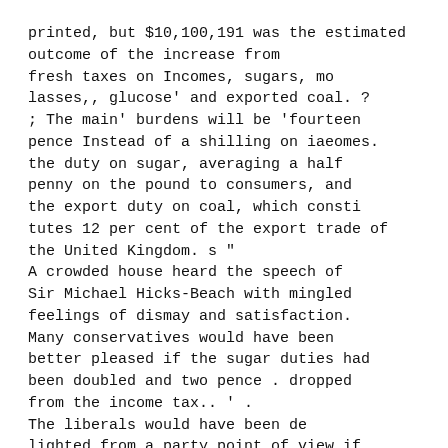printed, but $10,100,191 was the estimated outcome of the increase from fresh taxes on Incomes, sugars, molasses,, glucose' and exported coal. ? ; The main' burdens will be 'fourteen pence Instead of a shilling on iaeomes. the duty on sugar, averaging a half penny on the pound to consumers, and the export duty on coal, which constitutes 12 per cent of the export trade of the United Kingdom. s " A crowded house heard the speech of Sir Michael Hicks-Beach with mingled feelings of dismay and satisfaction. Many conservatives would have been better pleased if the sugar duties had been doubled and two pence . dropped from the income tax.. ' . The liberals would have been delighted from a party point of view if